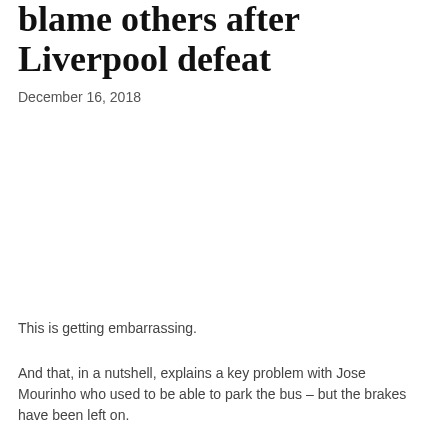blame others after Liverpool defeat
December 16, 2018
This is getting embarrassing.
And that, in a nutshell, explains a key problem with Jose Mourinho who used to be able to park the bus – but the brakes have been left on.